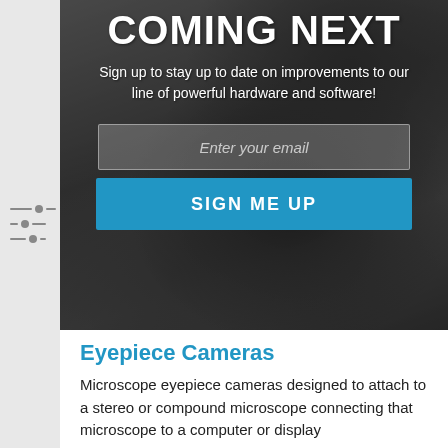COMING NEXT
Sign up to stay up to date on improvements to our line of powerful hardware and software!
Enter your email
SIGN ME UP
Eyepiece Cameras
Microscope eyepiece cameras designed to attach to a stereo or compound microscope connecting that microscope to a computer or display